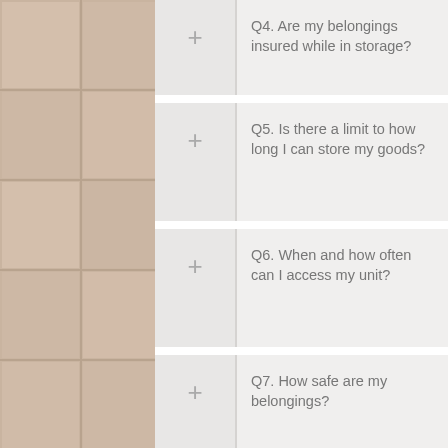Q4. Are my belongings insured while in storage?
Q5. Is there a limit to how long I can store my goods?
Q6. When and how often can I access my unit?
Q7. How safe are my belongings?
Q8. When will…